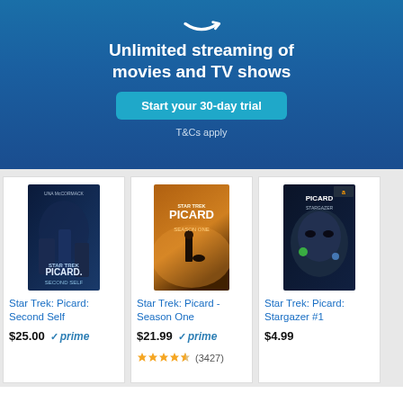[Figure (screenshot): Amazon Prime Video banner: smile logo, 'Unlimited streaming of movies and TV shows', 'Start your 30-day trial' button, 'T&Cs apply' text on blue gradient background]
[Figure (screenshot): Three Amazon product cards: Star Trek: Picard: Second Self ($25.00 prime), Star Trek: Picard - Season One ($21.99 prime, 4.5 stars, 3427 reviews), Star Trek: Picard: Stargazer #1 ($4.99)]